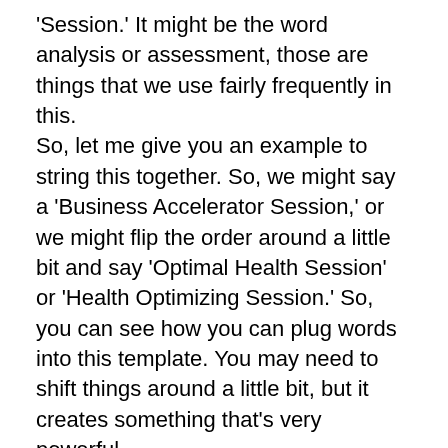'Session.' It might be the word analysis or assessment, those are things that we use fairly frequently in this. So, let me give you an example to string this together. So, we might say a 'Business Accelerator Session,' or we might flip the order around a little bit and say 'Optimal Health Session' or 'Health Optimizing Session.' So, you can see how you can plug words into this template. You may need to shift things around a little bit, but it creates something that's very powerful.
Pamela (05:30): So, I'll give you an example. If I said to you, you know, "Hey, I'd be